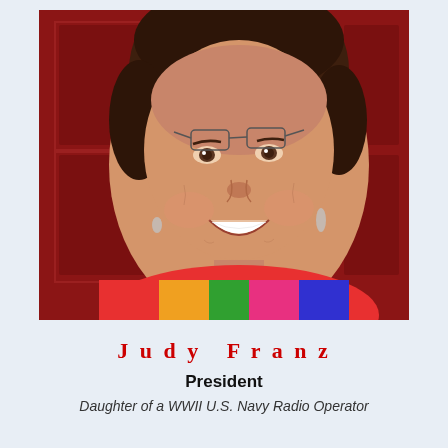[Figure (photo): Headshot photo of Judy Franz, a woman with short brown hair, glasses pushed up on her head, smiling broadly, wearing a colorful floral shirt, standing in front of a dark red door.]
Judy Franz
President
Daughter of a WWII U.S. Navy Radio Operator